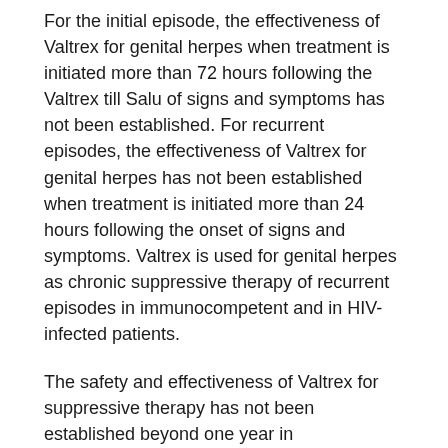For the initial episode, the effectiveness of Valtrex for genital herpes when treatment is initiated more than 72 hours following the Valtrex till Salu of signs and symptoms has not been established. For recurrent episodes, the effectiveness of Valtrex for genital herpes has not been established when treatment is initiated more than 24 hours following the onset of signs and symptoms. Valtrex is used for genital herpes as chronic suppressive therapy of recurrent episodes in immunocompetent and in HIV-infected patients.
The safety and effectiveness of Valtrex for suppressive therapy has not been established beyond one year in immunocompetent patients and beyond six months in HIV-infected patients.
[Figure (other): Broken image placeholder labeled 'Valtrex Till Salu']